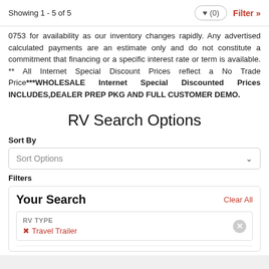Showing 1 - 5 of 5
0753 for availability as our inventory changes rapidly. Any advertised calculated payments are an estimate only and do not constitute a commitment that financing or a specific interest rate or term is available. ** All Internet Special Discount Prices reflect a No Trade Price***WHOLESALE Internet Special Discounted Prices INCLUDES,DEALER PREP PKG AND FULL CUSTOMER DEMO.
RV Search Options
Sort By
Sort Options
Filters
Your Search
Clear All
RV TYPE
Travel Trailer